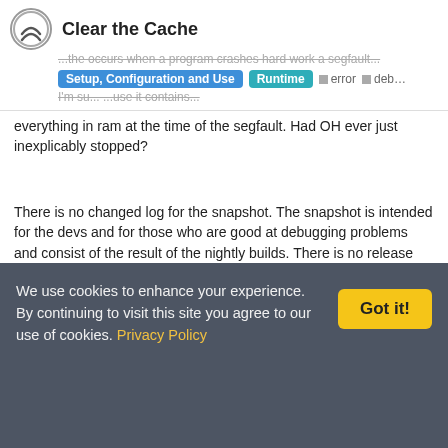Clear the Cache | Setup, Configuration and Use | Runtime | error | deb...
everything in ram at the time of the segfault. Had OH ever just inexplicably stopped?
There is no changed log for the snapshot. The snapshot is intended for the devs and for those who are good at debugging problems and consist of the result of the nightly builds. There is no release process beyond the nightly build succeeding. You can watch the prs on the various GitHub repos. Once a PR is merged it becomes party of the nightly build.
kevinshane   shane kevin   Mar '18
We use cookies to enhance your experience. By continuing to visit this site you agree to our use of cookies. Privacy Policy